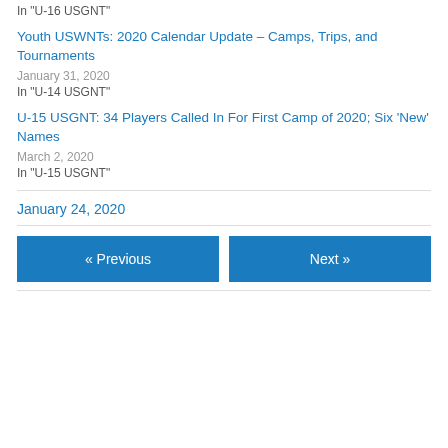In "U-16 USGNT"
Youth USWNTs: 2020 Calendar Update – Camps, Trips, and Tournaments
January 31, 2020
In "U-14 USGNT"
U-15 USGNT: 34 Players Called In For First Camp of 2020; Six 'New' Names
March 2, 2020
In "U-15 USGNT"
January 24, 2020
« Previous
Next »